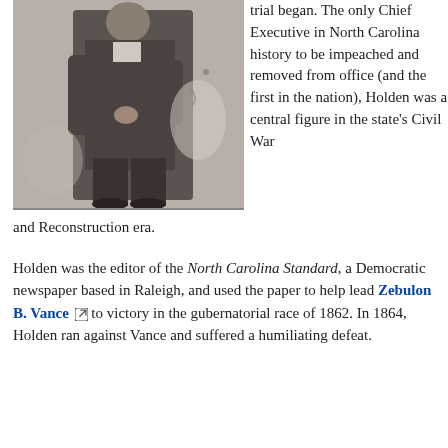[Figure (photo): Black and white historical photograph of a man standing in formal attire, likely from the Civil War era.]
trial began. The only Chief Executive in North Carolina history to be impeached and removed from office (and the first in the nation), Holden was a central figure in the state's Civil War and Reconstruction era.
Holden was the editor of the North Carolina Standard, a Democratic newspaper based in Raleigh, and used the paper to help lead Zebulon B. Vance to victory in the gubernatorial race of 1862. In 1864, Holden ran against Vance and suffered a humiliating defeat.